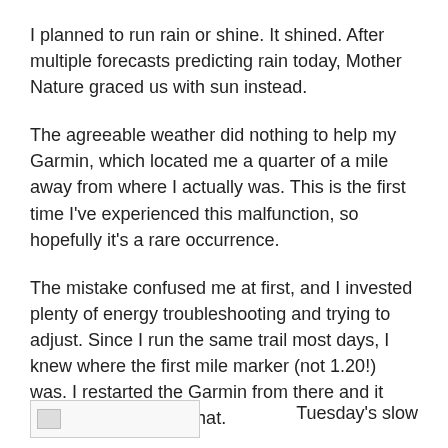I planned to run rain or shine. It shined. After multiple forecasts predicting rain today, Mother Nature graced us with sun instead.
The agreeable weather did nothing to help my Garmin, which located me a quarter of a mile away from where I actually was. This is the first time I've experienced this malfunction, so hopefully it's a rare occurrence.
The mistake confused me at first, and I invested plenty of energy troubleshooting and trying to adjust. Since I run the same trail most days, I knew where the first mile marker (not 1.20!) was. I restarted the Garmin from there and it had no trouble after that.
My legs, however, are another story.
[Figure (other): Partial image thumbnail at bottom left]
Tuesday's slow